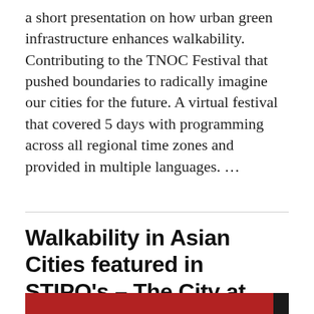a short presentation on how urban green infrastructure enhances walkability. Contributing to the TNOC Festival that pushed boundaries to radically imagine our cities for the future. A virtual festival that covered 5 days with programming across all regional time zones and provided in multiple languages. …
Walkability in Asian Cities featured in STIPO's – The City at Eye Level Asia
[Figure (photo): Partial view of a red and dark book or publication cover for 'The City at Eye Level Asia']